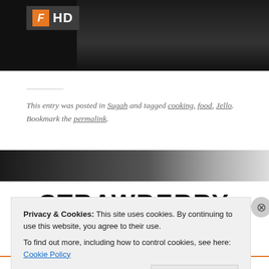[Figure (screenshot): Top portion of a blog page showing a Flipboard HD badge overlay on a dark video/image with a person in light clothing visible on the right side]
This entry was posted in Sugah and tagged cooking, food, Jello. Bookmark the permalink.
[Figure (other): Dark gradient banner fading from black on left to light gray on right]
STRAWBERRY
Privacy & Cookies: This site uses cookies. By continuing to use this website, you agree to their use.
To find out more, including how to control cookies, see here: Cookie Policy
Close and accept